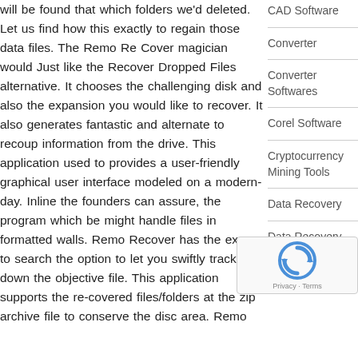will be found that which folders we'd deleted. Let us find how this exactly to regain those data files. The Remo Re Cover magician would Just like the Recover Dropped Files alternative. It chooses the challenging disk and also the expansion you would like to recover. It also generates fantastic and alternate to recoup information from the drive. This application used to provides a user-friendly graphical user interface modeled on a modern-day. Inline the founders can assure, the program which be might handle files in formatted walls. Remo Recover has the excess to search the option to let you swiftly track down the objective file. This application supports the re-covered files/folders at the zip archive file to conserve the disc area. Remo
CAD Software
Converter
Converter Softwares
Corel Software
Cryptocurrency Mining Tools
Data Recovery
Data Recovery Software
Data Recovery Tool